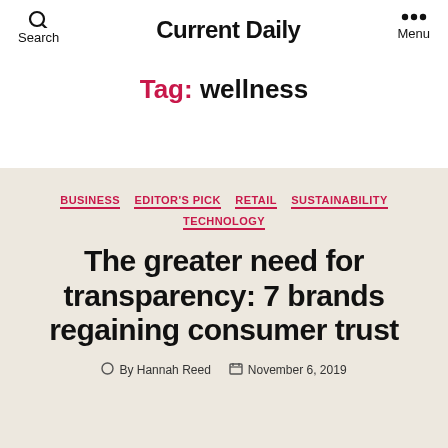Current Daily — Search | Menu
Tag: wellness
BUSINESS   EDITOR'S PICK   RETAIL   SUSTAINABILITY   TECHNOLOGY
The greater need for transparency: 7 brands regaining consumer trust
By Hannah Reed   November 6, 2019